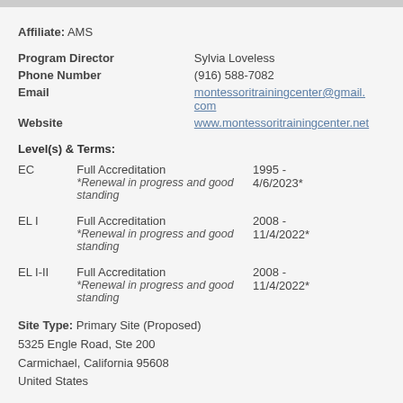Affiliate: AMS
| Field | Value |
| --- | --- |
| Program Director | Sylvia Loveless |
| Phone Number | (916) 588-7082 |
| Email | montessoritrainingcenter@gmail.com |
| Website | www.montessoritrainingcenter.net |
Level(s) & Terms:
| Level | Accreditation | Dates |
| --- | --- | --- |
| EC | Full Accreditation
*Renewal in progress and good standing | 1995 -
4/6/2023* |
| EL I | Full Accreditation
*Renewal in progress and good standing | 2008 -
11/4/2022* |
| EL I-II | Full Accreditation
*Renewal in progress and good standing | 2008 -
11/4/2022* |
Site Type: Primary Site (Proposed)
5325 Engle Road, Ste 200
Carmichael, California 95608
United States